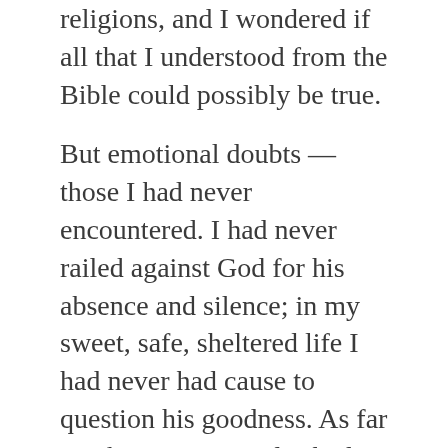religions, and I wondered if all that I understood from the Bible could possibly be true.
But emotional doubts — those I had never encountered. I had never railed against God for his absence and silence; in my sweet, safe, sheltered life I had never had cause to question his goodness. As far as I knew, no one else had either.
So when my world flipped upside down at the age of 23, when God absconded, I lacked the emotional vocabulary I needed to pray through it. What I knew of prayer was ACTS: Adoration, Confession, Thanksgiving, and Supplication.